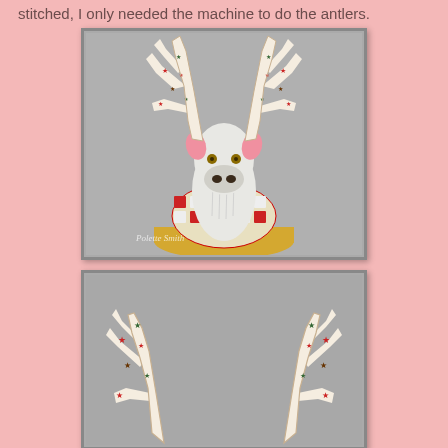stitched, I only needed the machine to do the antlers.
[Figure (photo): A decorative fabric reindeer head mount with patterned antlers covered in red and green stars on cream fabric, pink ears, white textured face, brown nose area with gold button eyes, and a red and gold snowflake-pattern chest piece mounted on a circular wooden base. Watermark reads 'Polette Smith'.]
[Figure (photo): A close-up view of the two detached reindeer antlers laid flat, showing the star-patterned fabric (red, green, brown stars on cream background) in detail.]